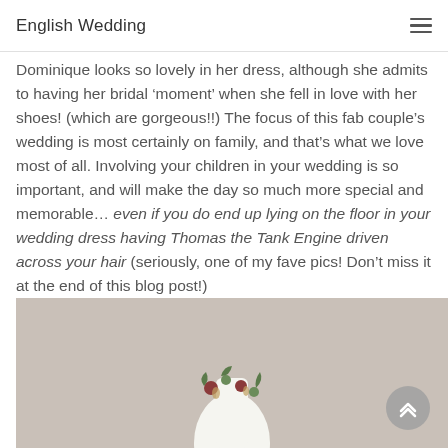English Wedding
Dominique looks so lovely in her dress, although she admits to having her bridal ‘moment’ when she fell in love with her shoes! (which are gorgeous!!) The focus of this fab couple’s wedding is most certainly on family, and that’s what we love most of all. Involving your children in your wedding is so important, and will make the day so much more special and memorable… even if you do end up lying on the floor in your wedding dress having Thomas the Tank Engine driven across your hair (seriously, one of my fave pics! Don’t miss it at the end of this blog post!)
[Figure (photo): A wedding photograph showing a white object (likely a wedding accessory or cake topper) with floral decorations on a beige/taupe background, partially visible at the bottom of the page.]